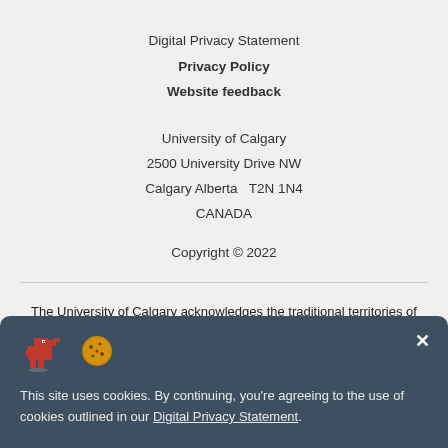Digital Privacy Statement
Privacy Policy
Website feedback
University of Calgary
2500 University Drive NW
Calgary Alberta   T2N 1N4
CANADA
Copyright © 2022
The University of Calgary acknowledges the traditional territories of the people of the Treaty 7 region in Southern Alberta, which includes the Blackfoot Confederacy (comprised of the Siksika, Piikani, and Kainai First Nations), as well as the Tsuut'ina First Nation, and the Stoney Nakoda
This site uses cookies. By continuing, you're agreeing to the use of cookies outlined in our Digital Privacy Statement.